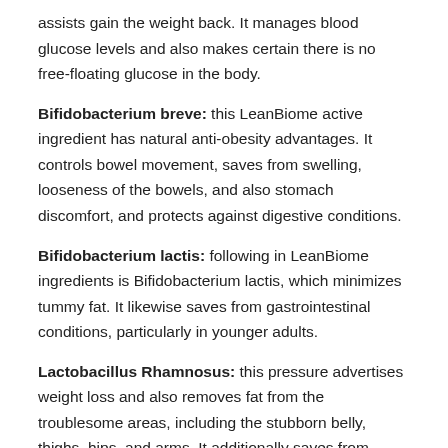assists gain the weight back. It manages blood glucose levels and also makes certain there is no free-floating glucose in the body.
Bifidobacterium breve: this LeanBiome active ingredient has natural anti-obesity advantages. It controls bowel movement, saves from swelling, looseness of the bowels, and also stomach discomfort, and protects against digestive conditions.
Bifidobacterium lactis: following in LeanBiome ingredients is Bifidobacterium lactis, which minimizes tummy fat. It likewise saves from gastrointestinal conditions, particularly in younger adults.
Lactobacillus Rhamnosus: this pressure advertises weight loss and also removes fat from the troublesome areas, including the stubborn belly, thighs, hips, and arms. It additionally saves from reabsorption of fat and putting on weight after losing it once.